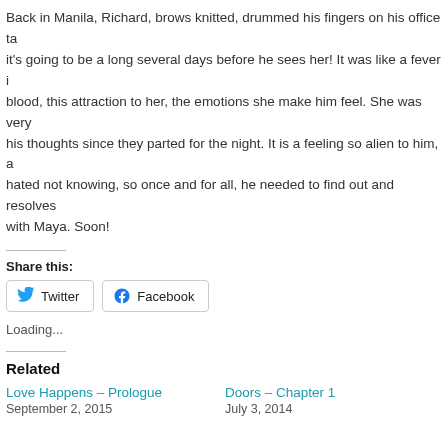Back in Manila, Richard, brows knitted, drummed his fingers on his office ta... it's going to be a long several days before he sees her! It was like a fever in his blood, this attraction to her, the emotions she make him feel. She was very much in his thoughts since they parted for the night. It is a feeling so alien to him, and he hated not knowing, so once and for all, he needed to find out and resolves things with Maya. Soon!
Share this:
Twitter   Facebook
Loading...
Related
Love Happens – Prologue
September 2, 2015
Doors – Chapter 1
July 3, 2014